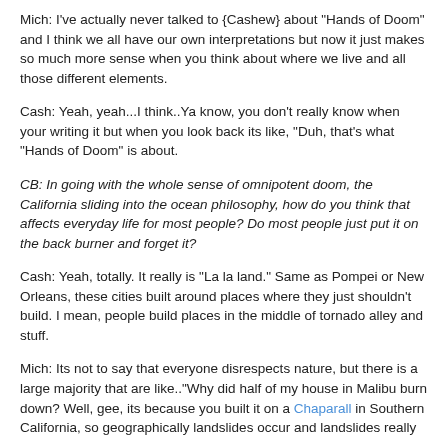Mich: I've actually never talked to {Cashew} about "Hands of Doom" and I think we all have our own interpretations but now it just makes so much more sense when you think about where we live and all those different elements.
Cash: Yeah, yeah...I think..Ya know, you don't really know when your writing it but when you look back its like, "Duh, that's what "Hands of Doom" is about.
CB: In going with the whole sense of omnipotent doom, the California sliding into the ocean philosophy, how do you think that affects everyday life for most people? Do most people just put it on the back burner and forget it?
Cash: Yeah, totally. It really is "La la land." Same as Pompei or New Orleans, these cities built around places where they just shouldn't build. I mean, people build places in the middle of tornado alley and stuff.
Mich: Its not to say that everyone disrespects nature, but there is a large majority that are like.."Why did half of my house in Malibu burn down? Well, gee, its because you built it on a Chaparall in Southern California, so geographically landslides occur and landslides really